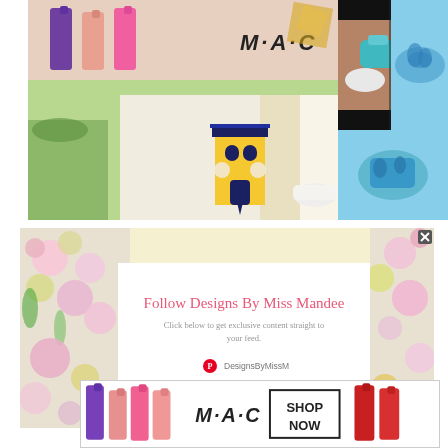[Figure (photo): Top collage: MAC lipsticks (purple, salmon, pink) on left, MAC logo, windmill paper craft in center, hands with clay mold and blue silicone product on right]
[Figure (infographic): Pinterest follow popup overlay on floral background reading 'Follow Designs By Miss Mandee - Click below to get exclusive content straight to your feed. DesignsByMissM' with CLOSE button]
[Figure (photo): Bottom ad banner: MAC lipsticks purple/salmon/pink, MAC logo, SHOP NOW box, red lipstick]